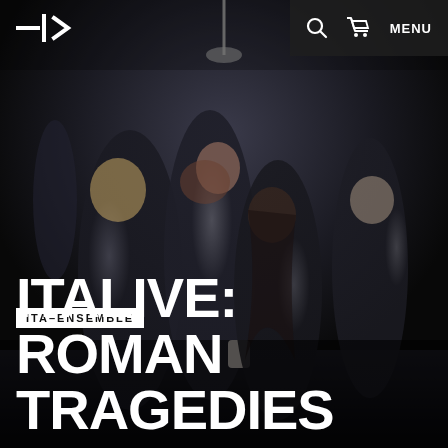[Figure (photo): Theatrical production photo showing four performers in dark clothing in an intense dramatic scene. One central figure throws their head back while others hold and surround them. The lighting is dramatic and dark.]
ITA – [logo] | search | cart | MENU
ITA–ENSEMBLE
ITALIVE: ROMAN TRAGEDIES